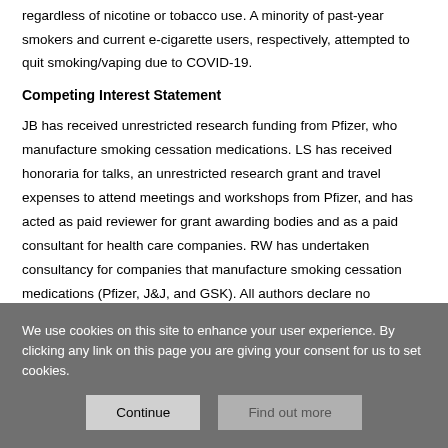regardless of nicotine or tobacco use. A minority of past-year smokers and current e-cigarette users, respectively, attempted to quit smoking/vaping due to COVID-19.
Competing Interest Statement
JB has received unrestricted research funding from Pfizer, who manufacture smoking cessation medications. LS has received honoraria for talks, an unrestricted research grant and travel expenses to attend meetings and workshops from Pfizer, and has acted as paid reviewer for grant awarding bodies and as a paid consultant for health care companies. RW has undertaken consultancy for companies that manufacture smoking cessation medications (Pfizer, J&J, and GSK). All authors declare no
We use cookies on this site to enhance your user experience. By clicking any link on this page you are giving your consent for us to set cookies.